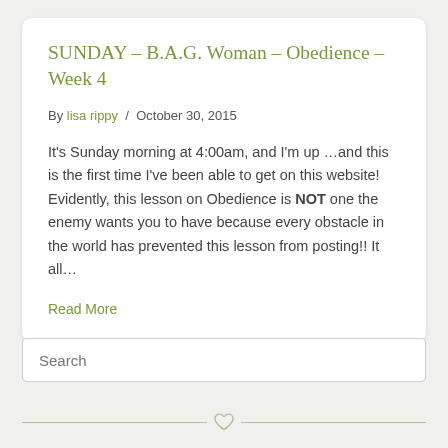SUNDAY – B.A.G. Woman – Obedience – Week 4
By lisa rippy / October 30, 2015
It's Sunday morning at 4:00am, and I'm up …and this is the first time I've been able to get on this website! Evidently, this lesson on Obedience is NOT one the enemy wants you to have because every obstacle in the world has prevented this lesson from posting!! It all…
Read More